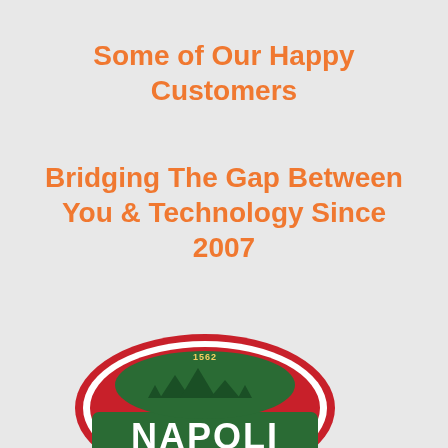Some of Our Happy Customers
Bridging The Gap Between You & Technology Since 2007
[Figure (logo): Napoli Finest Quality Foods logo — green rectangular badge with 'NAPOLI' in white text, red arch above with '1562' and a scenic landscape illustration, circular border reading 'FINEST QUALITY FOODS']